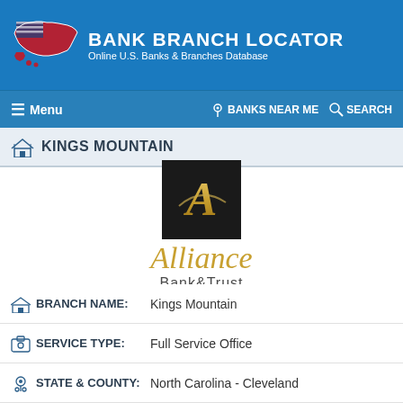BANK BRANCH LOCATOR — Online U.S. Banks & Branches Database
[Figure (screenshot): Bank Branch Locator website header with US map logo, navigation menu with Banks Near Me and Search options, Kings Mountain section bar, Alliance Bank & Trust logo, and branch information rows showing Branch Name: Kings Mountain, Service Type: Full Service Office, State & County: North Carolina - Cleveland]
BRANCH NAME: Kings Mountain
SERVICE TYPE: Full Service Office
STATE & COUNTY: North Carolina - Cleveland